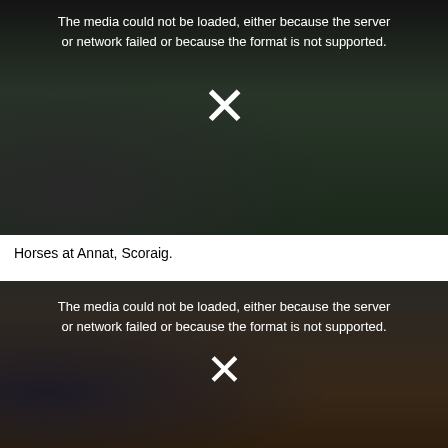[Figure (photo): Video player showing a failed media load over a dark photo of horses at a hillside landscape. White X symbol and error message displayed.]
Horses at Annat, Scoraig.
[Figure (photo): Second video player showing a failed media load over a dark landscape photo. White X symbol and error message displayed.]